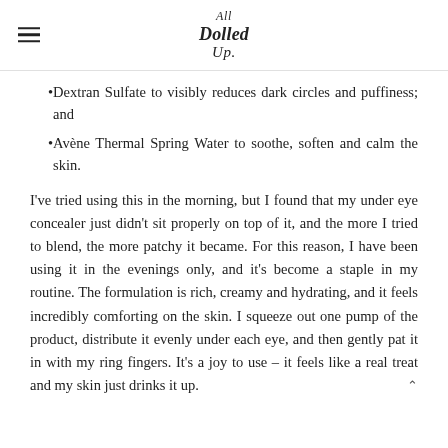All Dolled Up
Dextran Sulfate to visibly reduces dark circles and puffiness; and
Avène Thermal Spring Water to soothe, soften and calm the skin.
I've tried using this in the morning, but I found that my under eye concealer just didn't sit properly on top of it, and the more I tried to blend, the more patchy it became. For this reason, I have been using it in the evenings only, and it's become a staple in my routine. The formulation is rich, creamy and hydrating, and it feels incredibly comforting on the skin. I squeeze out one pump of the product, distribute it evenly under each eye, and then gently pat it in with my ring fingers. It's a joy to use – it feels like a real treat and my skin just drinks it up.